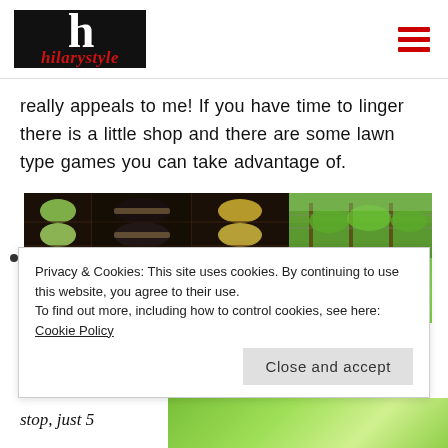hilaryStyle
really appeals to me! If you have time to linger there is a little shop and there are some lawn type games you can take advantage of.
[Figure (photo): Two photos: left shows wine bottles stacked in wooden wine racks from multiple angles; right shows a vineyard with green grapevines and a second partial image below it.]
Privacy & Cookies: This site uses cookies. By continuing to use this website, you agree to their use.
To find out more, including how to control cookies, see here:
Cookie Policy

Close and accept
stop, just 5